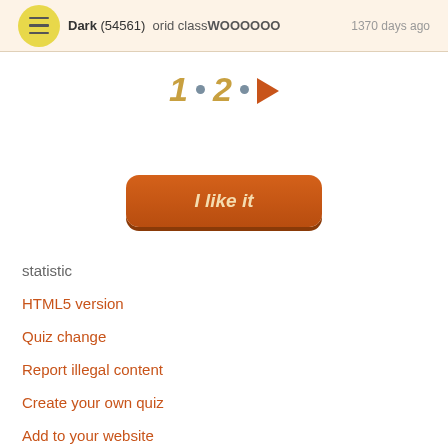Dark (54561)  1370 days ago  orid classWOOOOOO
[Figure (other): Pagination control showing: 1 • 2 • ▶]
[Figure (other): Orange 'I like it' button]
statistic
HTML5 version
Quiz change
Report illegal content
Create your own quiz
Add to your website